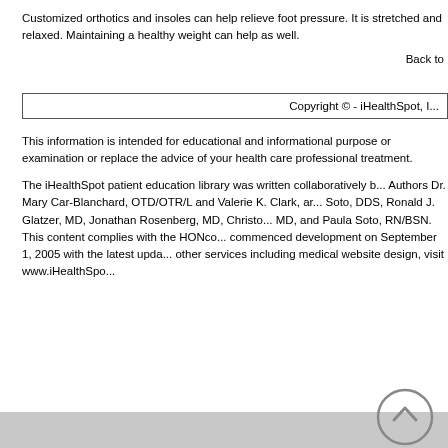Customized orthotics and insoles can help relieve foot pressure.  It is stretched and relaxed.  Maintaining a healthy weight can help as well.
Back to
Copyright © - iHealthSpot, I...
This information is intended for educational and informational purposes or examination or replace the advice of your health care professional treatment.
The iHealthSpot patient education library was written collaboratively b... Authors Dr. Mary Car-Blanchard, OTD/OTR/L and Valerie K. Clark, ar... Soto, DDS, Ronald J. Glatzer, MD, Jonathan Rosenberg, MD, Christo... MD, and Paula Soto, RN/BSN. This content complies with the HONco... commenced development on September 1, 2005 with the latest upda... other services including medical website design, visit www.iHealthSpo...